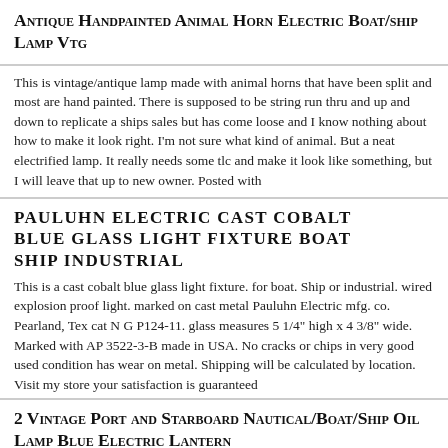Antique Handpainted Animal Horn Electric Boat/ship Lamp Vtg
This is vintage/antique lamp made with animal horns that have been split and most are hand painted. There is supposed to be string run thru and up and down to replicate a ships sales but has come loose and I know nothing about how to make it look right. I'm not sure what kind of animal. But a neat electrified lamp. It really needs some tlc and make it look like something, but I will leave that up to new owner. Posted with
pauluhn electric cast cobalt blue glass light fixture boat ship industrial
This is a cast cobalt blue glass light fixture. for boat. Ship or industrial. wired explosion proof light. marked on cast metal Pauluhn Electric mfg. co. Pearland, Tex cat N G P124-11. glass measures 5 1/4" high x 4 3/8" wide. Marked with AP 3522-3-B made in USA. No cracks or chips in very good used condition has wear on metal. Shipping will be calculated by location. Visit my store your satisfaction is guaranteed
2 Vintage Port and Starboard Nautical/Boat/Ship Oil Lamp Blue Electric Lantern
Interesting pair the BLUE GLASS Electric Lamp is 12 inches tall. It has a place for a blub inside and on top. Looks like brass. Has wear. The CLEAR GLASS Oil Lamp is marked Hong Kong on the bottom and it measures 9 inches. Looks like cooper, has wear on cooper from age. Ask questions if you have any. ItemId ViewItemPage/4 ItemId